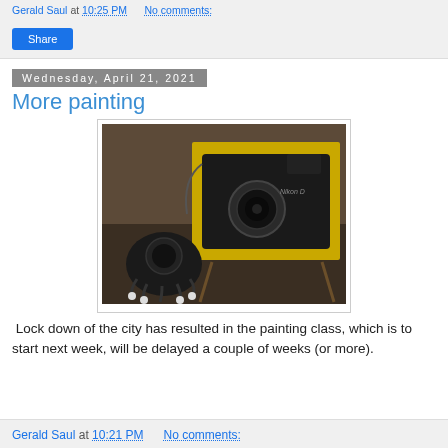Gerald Saul at 10:25 PM   No comments:
Wednesday, April 21, 2021
More painting
[Figure (photo): A painting of a Nikon camera on a yellow canvas, propped on an easel, with an actual black camera sitting in front of it on a table.]
Lock down of the city has resulted in the painting class, which is to start next week, will be delayed a couple of weeks (or more).
Gerald Saul at 10:21 PM   No comments: